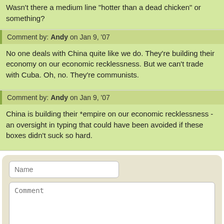Wasn't there a medium line 'hotter than a dead chicken' or something?
Comment by: Andy on Jan 9, '07
No one deals with China quite like we do. They're building their economy on our economic recklessness. But we can't trade with Cuba. Oh, no. They're communists.
Comment by: Andy on Jan 9, '07
China is building their *empire on our economic recklessness - an oversight in typing that could have been avoided if these boxes didn't suck so hard.
Name (form input)
Comment (textarea)
Make a Witty Remark (button)
This site is protected by reCAPTCHA and the Google Privacy Policy and Terms of Service apply.